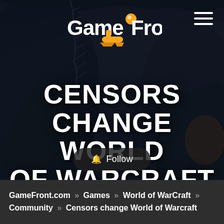[Figure (screenshot): GameFront website header showing World of Warcraft game artwork with dark fantasy characters, logo at top center, hamburger menu icon top right]
CENSORS CHANGE WORLD OF WARCRAFT
Follow
GameFront.com » Games » World of WarCraft » Community » Censors change World of Warcraft